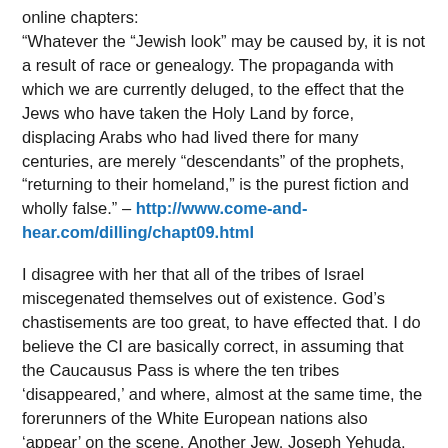online chapters:
"Whatever the “Jewish look” may be caused by, it is not a result of race or genealogy. The propaganda with which we are currently deluged, to the effect that the Jews who have taken the Holy Land by force, displacing Arabs who had lived there for many centuries, are merely “descendants” of the prophets, “returning to their homeland,” is the purest fiction and wholly false.” – http://www.come-and-hear.com/dilling/chapt09.html
I disagree with her that all of the tribes of Israel miscegenated themselves out of existence. God’s chastisements are too great, to have effected that. I do believe the CI are basically correct, in assuming that the Caucausus Pass is where the ten tribes ‘disappeared,’ and where, almost at the same time, the forerunners of the White European nations also ‘appear’ on the scene. Another Jew, Joseph Yehuda, noted in a seminal book, that ‘Hebrew is Greek’ (as in Languages) If the language, then, so, too the race! (read the comment at the following site, dated 9/11/12 for more corroboration on this-